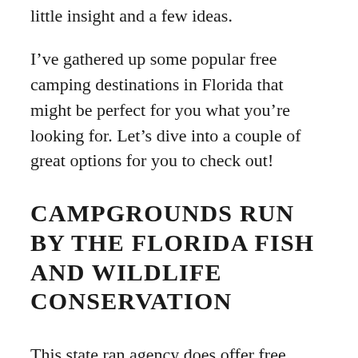little insight and a few ideas.
I've gathered up some popular free camping destinations in Florida that might be perfect for you what you're looking for. Let's dive into a couple of great options for you to check out!
CAMPGROUNDS RUN BY THE FLORIDA FISH AND WILDLIFE CONSERVATION
This state ran agency does offer free camping options all over the state but has